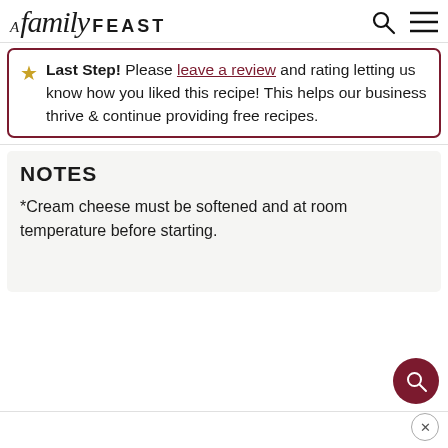A Family FEAST
Last Step! Please leave a review and rating letting us know how you liked this recipe! This helps our business thrive & continue providing free recipes.
NOTES
*Cream cheese must be softened and at room temperature before starting.